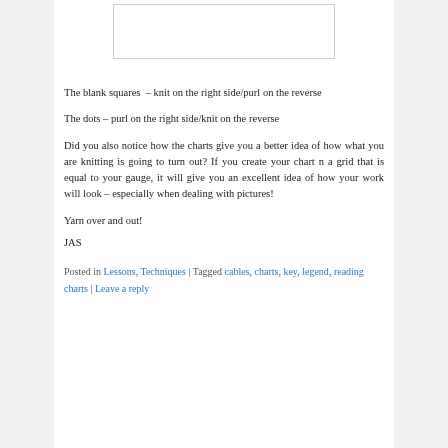[Figure (other): A blank/white rectangular box (knitting chart grid placeholder)]
The blank squares  – knit on the right side/purl on the reverse
The dots – purl on the right side/knit on the reverse
Did you also notice how the charts give you a better idea of how what you are knitting is going to turn out? If you create your chart n a grid that is equal to your gauge, it will give you an excellent idea of how your work will look – especially when dealing with pictures!
Yarn over and out!
JAS
Posted in Lessons, Techniques | Tagged cables, charts, key, legend, reading charts | Leave a reply